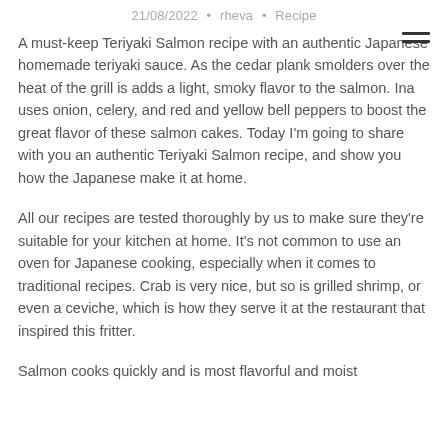21/08/2022 • rheva • Recipe
A must-keep Teriyaki Salmon recipe with an authentic Japanese homemade teriyaki sauce. As the cedar plank smolders over the heat of the grill is adds a light, smoky flavor to the salmon. Ina uses onion, celery, and red and yellow bell peppers to boost the great flavor of these salmon cakes. Today I'm going to share with you an authentic Teriyaki Salmon recipe, and show you how the Japanese make it at home.
All our recipes are tested thoroughly by us to make sure they're suitable for your kitchen at home. It's not common to use an oven for Japanese cooking, especially when it comes to traditional recipes. Crab is very nice, but so is grilled shrimp, or even a ceviche, which is how they serve it at the restaurant that inspired this fritter.
Salmon cooks quickly and is most flavorful and moist when it is not overcooked halfway.